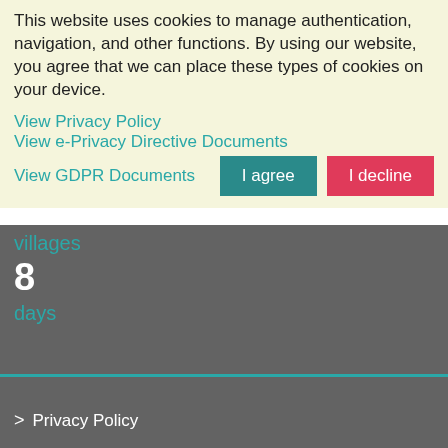This website uses cookies to manage authentication, navigation, and other functions. By using our website, you agree that we can place these types of cookies on your device.
View Privacy Policy   View e-Privacy Directive Documents   View GDPR Documents
villages
8
days
> Privacy Policy